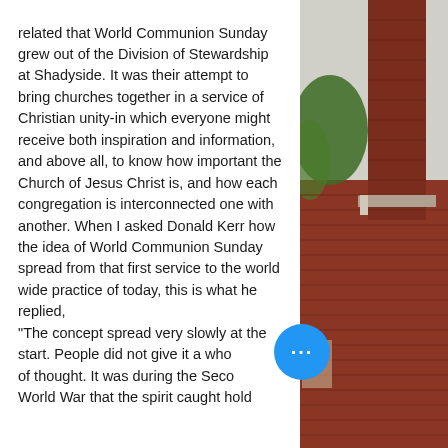related that World Communion Sunday grew out of the Division of Stewardship at Shadyside. It was their attempt to bring churches together in a service of Christian unity-in which everyone might receive both inspiration and information, and above all, to know how important the Church of Jesus Christ is, and how each congregation is interconnected one with another. When I asked Donald Kerr how the idea of World Communion Sunday spread from that first service to the world wide practice of today, this is what he replied,
"The concept spread very slowly at the start. People did not give it a wh[ole] of thought. It was during the Seco[nd] World War that the spirit caught hold
[Figure (photo): Photograph of a red brick church building with a tall chimney/tower on the right side of the page, with green trees visible in the background.]